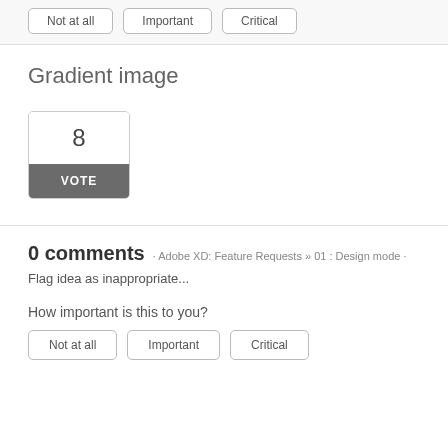Not at all
Important
Critical
Gradient image
8
VOTE
0 comments
Adobe XD: Feature Requests » 01 : Design mode
Flag idea as inappropriate...
How important is this to you?
Not at all
Important
Critical